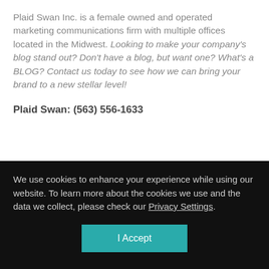Plaid Swan Inc. is a female owned and operated marketing communications firm with multiple offices located in the Midwest. Looking to make your company's blog stand out? Don't have a blog, but want one? What's a BLOG? Contact us today to see how we can bring your brand to a new stellar level!
Plaid Swan: (563) 556-1633
We use cookies to enhance your experience while using our website. To learn more about the cookies we use and the data we collect, please check our Privacy Settings.
I Accept